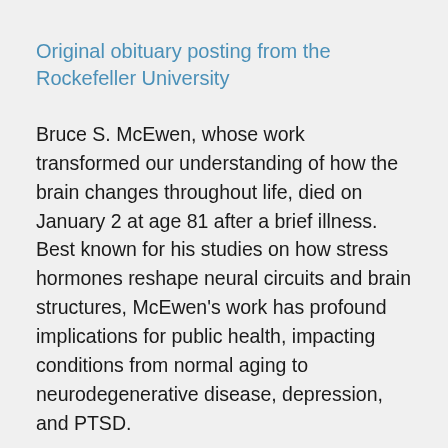Original obituary posting from the Rockefeller University
Bruce S. McEwen, whose work transformed our understanding of how the brain changes throughout life, died on January 2 at age 81 after a brief illness. Best known for his studies on how stress hormones reshape neural circuits and brain structures, McEwen's work has profound implications for public health, impacting conditions from normal aging to neurodegenerative disease, depression, and PTSD.